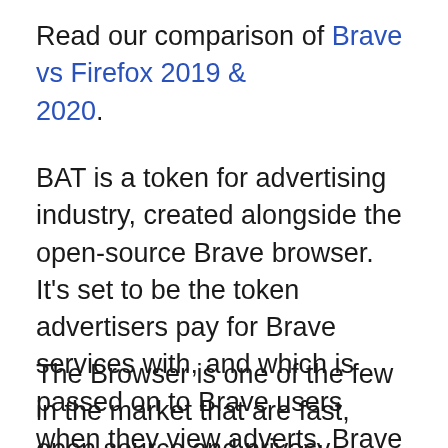Read our comparison of Brave vs Firefox 2019 & 2020.
BAT is a token for advertising industry, created alongside the open-source Brave browser. It’s set to be the token advertisers pay for Brave services with, and which is passed on to Brave users when they view adverts. Brave users can also reward their favorite sites or YT channels by donating in BAT.
The Browser is one of the few in the market that are fast, open source and privacy-focused. Brave Browser is able to block malvertisements, trackers and “contains a ledger system that